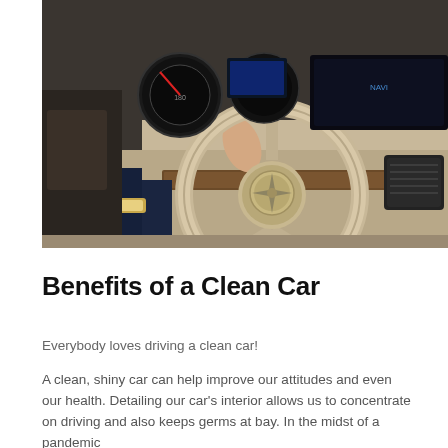[Figure (photo): Photo of a person's hand gripping a Mercedes-Benz steering wheel, showing the dashboard with instrument cluster, digital displays, and interior trim in beige and wood tones.]
Benefits of a Clean Car
Everybody loves driving a clean car!
A clean, shiny car can help improve our attitudes and even our health. Detailing our car's interior allows us to concentrate on driving and also keeps germs at bay. In the midst of a pandemic